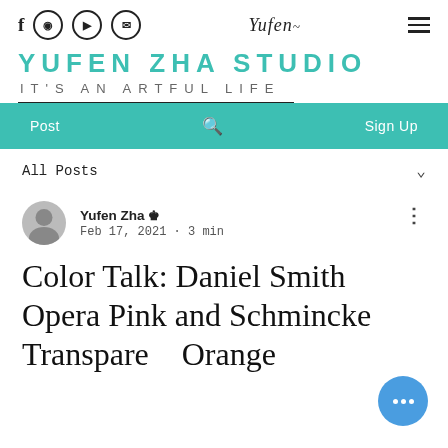f [instagram] [youtube] [email] Yufen [menu]
YUFEN ZHA STUDIO
IT'S AN ARTFUL LIFE
Post  [search]  Sign Up
All Posts
Yufen Zha [admin] Feb 17, 2021 · 3 min
Color Talk: Daniel Smith Opera Pink and Schmincke Transparent Orange